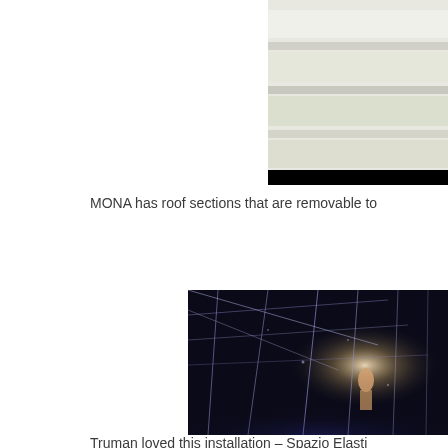[Figure (photo): Partial view of MONA museum roof sections, light-colored architectural layers visible]
MONA has roof sections that are removable to
[Figure (photo): Dark interior installation photo showing Spazio Elastico – a dark room with glowing lines/strings and a figure in the center]
Truman loved this installation – Spazio Elasti… 1967-1968. Strings filth… f…